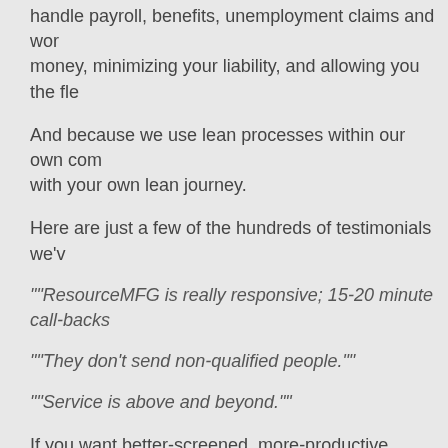handle payroll, benefits, unemployment claims and wor... money, minimizing your liability, and allowing you the fle...
And because we use lean processes within our own com... with your own lean journey.
Here are just a few of the hundreds of testimonials we'v...
""ResourceMFG is really responsive; 15-20 minute call-backs...
""They don't send non-qualified people.""
""Service is above and beyond.""
If you want better-screened, more-productive, safer em... worker or hundreds of entry-level employees – call Resc...